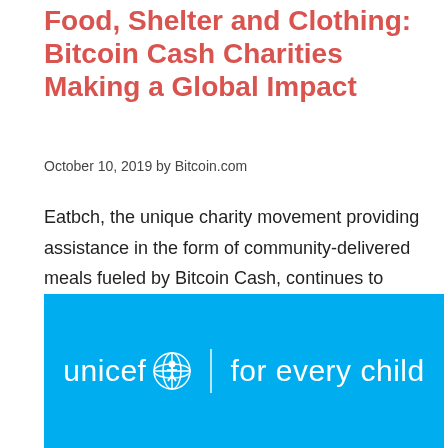Food, Shelter and Clothing: Bitcoin Cash Charities Making a Global Impact
October 10, 2019 by Bitcoin.com
Eatbch, the unique charity movement providing assistance in the form of community-delivered meals fueled by Bitcoin Cash, continues to serve Venezuela and South Sudan, and is now...
[Figure (logo): UNICEF logo on a bright blue background with text 'unicef | for every child' in white]